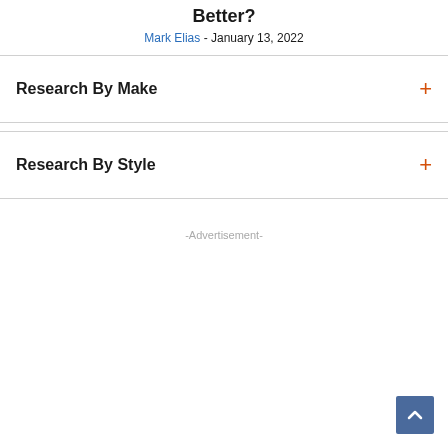Better?
Mark Elias - January 13, 2022
Research By Make
Research By Style
-Advertisement-